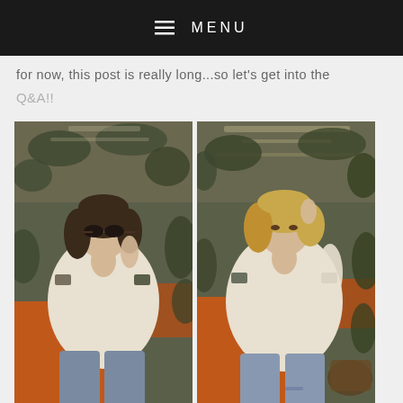≡ MENU
for now, this post is really long...so let's get into the
Q&A!!
[Figure (photo): Two side-by-side fashion photos of a blonde woman wearing a cream cold-shoulder knit sweater and jeans, sitting against an orange cushion with greenery in the background. Left photo shows her wearing sunglasses. Right photo shows her without sunglasses with hand in hair.]